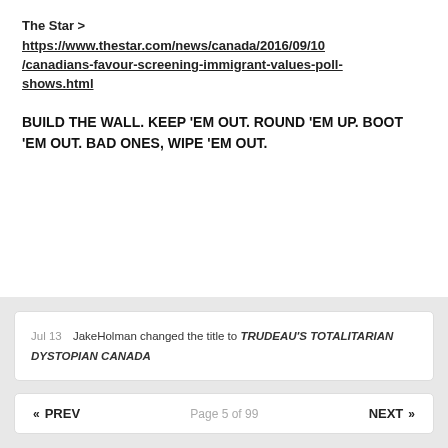The Star >
https://www.thestar.com/news/canada/2016/09/10/canadians-favour-screening-immigrant-values-poll-shows.html
BUILD THE WALL. KEEP 'EM OUT. ROUND 'EM UP. BOOT 'EM OUT. BAD ONES, WIPE 'EM OUT.
Jul 13   JakeHolman changed the title to TRUDEAU'S TOTALITARIAN DYSTOPIAN CANADA
« PREV   Page 5 of 99   NEXT »